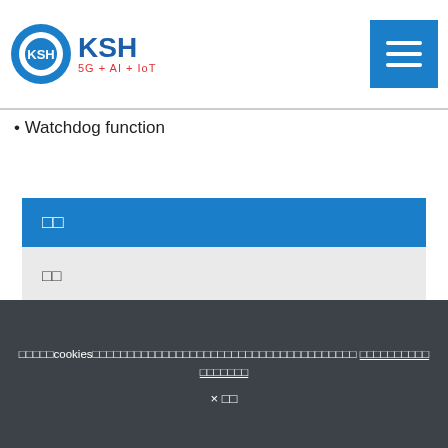KSH 5G + AI + IoT
Watchdog function
| 구분 |
| --- |
| 이름 |
| 주소 |
Cookie consent bar with Korean text and close button